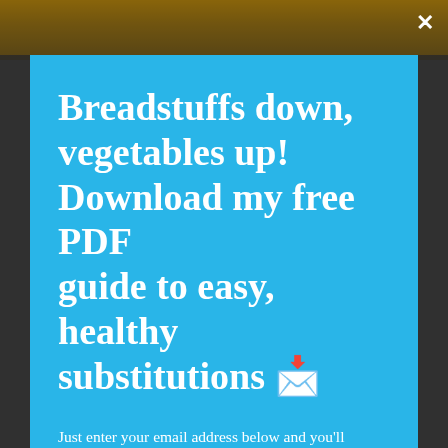[Figure (photo): Partial photo of a person visible behind a modal overlay popup, with warm brown/yellow tones at the top of the page]
Breadstuffs down, vegetables up! Download my free PDF guide to easy, healthy substitutions 🔽
Just enter your email address below and you'll receive this handy printable PDF and join my twice-monthly "Jetpack" email list (unsubscribe anytime of course).